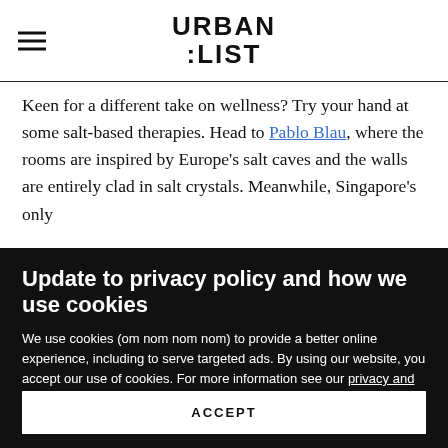URBAN LIST
Keen for a different take on wellness? Try your hand at some salt-based therapies. Head to Pablo Blau, where the rooms are inspired by Europe's salt caves and the walls are entirely clad in salt crystals. Meanwhile, Singapore's only
Update to privacy policy and how we use cookies
We use cookies (om nom nom nom) to provide a better online experience, including to serve targeted ads. By using our website, you accept our use of cookies. For more information see our privacy and information policy
ACCEPT